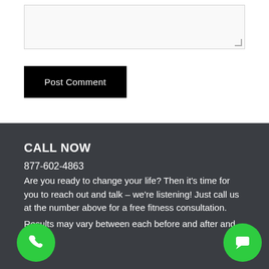[Figure (other): Text input textarea box with resize handle in bottom-right corner]
Post Comment
CALL NOW
877-602-4863
Are you ready to change your life? Then it’s time for you to reach out and talk – we’re listening! Just call us at the number above for a free fitness consultation.
Results may vary between each before and after and each
[Figure (other): Green circular phone call button with white phone icon]
[Figure (other): Green circular chat/message button with white chat icon]